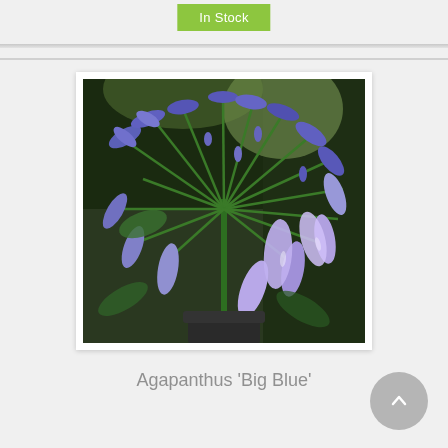In Stock
[Figure (photo): Photograph of Agapanthus 'Big Blue' plant with purple-blue trumpet-shaped flowers radiating from a central green stem, with green foliage and dark background]
Agapanthus 'Big Blue'